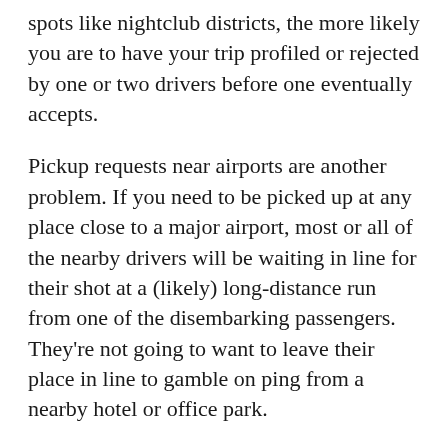spots like nightclub districts, the more likely you are to have your trip profiled or rejected by one or two drivers before one eventually accepts.
Pickup requests near airports are another problem. If you need to be picked up at any place close to a major airport, most or all of the nearby drivers will be waiting in line for their shot at a (likely) long-distance run from one of the disembarking passengers. They're not going to want to leave their place in line to gamble on ping from a nearby hotel or office park.
Finally there's UberPOOL, which an increasing number of drivers are refusing to accept altogether. I won't get into why UberPOOL is so disliked, but if you're curious there's a previous article that covers the subject somewhat in depth.
Unfortunately, as a passenger there's not much you can